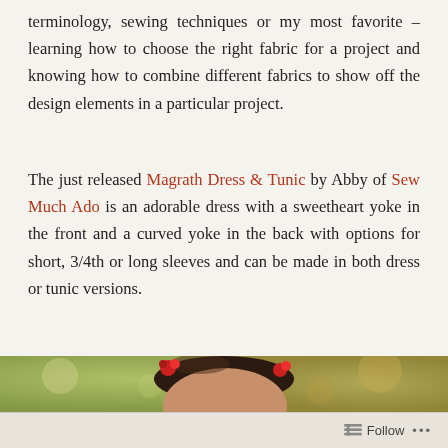terminology, sewing techniques or my most favorite – learning how to choose the right fabric for a project and knowing how to combine different fabrics to show off the design elements in a particular project.
The just released Magrath Dress & Tunic by Abby of Sew Much Ado is an adorable dress with a sweetheart yoke in the front and a curved yoke in the back with options for short, 3/4th or long sleeves and can be made in both dress or tunic versions.
[Figure (photo): A young girl with dark hair adorned with red flower clips, looking at the camera, with a blurred outdoor background of trees and foliage.]